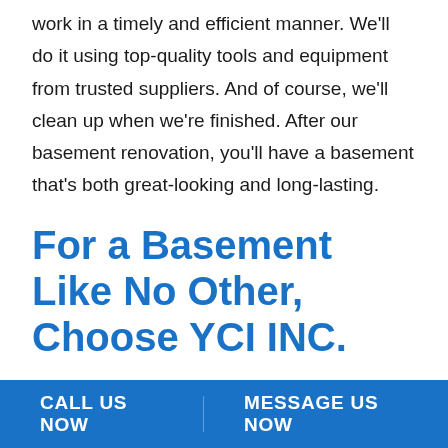work in a timely and efficient manner. We'll do it using top-quality tools and equipment from trusted suppliers. And of course, we'll clean up when we're finished. After our basement renovation, you'll have a basement that's both great-looking and long-lasting.
For a Basement Like No Other, Choose YCI INC.
Call now to experience the incredible basement refinishing services you can only get from YCI INC.. We'll be happy to answer your questions, and we'll
CALL US NOW    MESSAGE US NOW